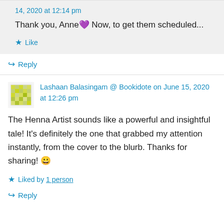14, 2020 at 12:14 pm
Thank you, Anne 💜 Now, to get them scheduled...
★ Like
↪ Reply
Lashaan Balasingam @ Bookidote on June 15, 2020 at 12:26 pm
The Henna Artist sounds like a powerful and insightful tale! It's definitely the one that grabbed my attention instantly, from the cover to the blurb. Thanks for sharing! 😀
★ Liked by 1 person
↪ Reply